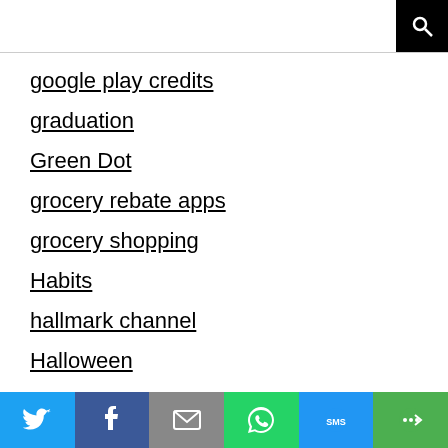google play credits
graduation
Green Dot
grocery rebate apps
grocery shopping
Habits
hallmark channel
Halloween
Happiness
Health & Fitness
HGTV